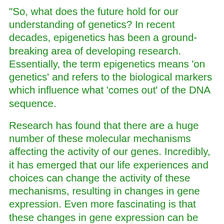"So, what does the future hold for our understanding of genetics? In recent decades, epigenetics has been a ground-breaking area of developing research. Essentially, the term epigenetics means 'on genetics' and refers to the biological markers which influence what 'comes out' of the DNA sequence.
Research has found that there are a huge number of these molecular mechanisms affecting the activity of our genes. Incredibly, it has emerged that our life experiences and choices can change the activity of these mechanisms, resulting in changes in gene expression. Even more fascinating is that these changes in gene expression can be inherited, meaning that the life experiences of your ancestors can fundamentally influence your biological make-up.
These discoveries are likely to have a dramatic impact on the future of the healthcare system. We're beginning to understand that the choices